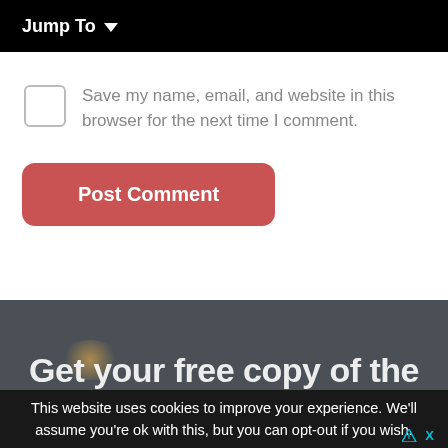Jump To ∨
Save my name, email, and website in this browser for the next time I comment.
Post Comment
[Figure (screenshot): Dark background section with partial text 'Get your free copy of the']
This website uses cookies to improve your experience. We'll assume you're ok with this, but you can opt-out if you wish.